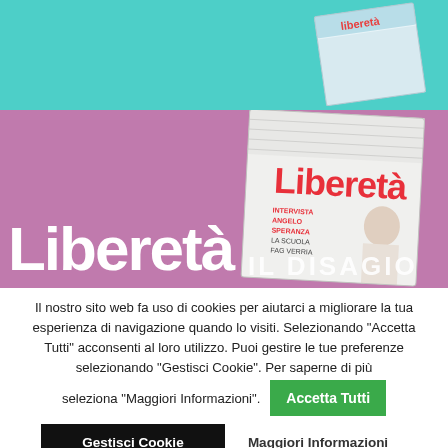[Figure (photo): Top banner with teal/turquoise background showing a Liberetà magazine cover mockup in the upper right corner]
[Figure (photo): Purple/mauve banner with large white 'Liberetà' logo text on the left and a magazine cover on the right showing 'Liberetà' masthead in red, with text 'IL DISAGIO' overlaid]
Il nostro sito web fa uso di cookies per aiutarci a migliorare la tua esperienza di navigazione quando lo visiti. Selezionando "Accetta Tutti" acconsenti al loro utilizzo. Puoi gestire le tue preferenze selezionando "Gestisci Cookie". Per saperne di più seleziona "Maggiori Informazioni".
Accetta Tutti
Gestisci Cookie
Maggiori Informazioni